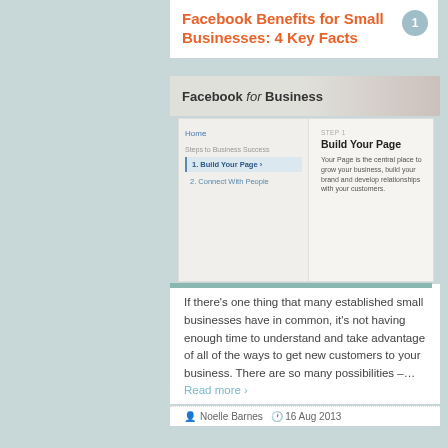Facebook Benefits for Small Businesses: 4 Key Facts
Facebook for Business
[Figure (screenshot): Screenshot of Facebook for Business page showing 'Build Your Page' step with sidebar navigation including Home, Steps to Business Success, 1. Build Your Page (active), 2. Connect With People. Content area shows STEP 1, Build Your Page title and description text.]
If there's one thing that many established small businesses have in common, it's not having enough time to understand and take advantage of all of the ways to get new customers to your business. There are so many possibilities –…
Read more ›
Noelle Barnes  16 Aug 2013
Social Media
best practices, facebook, facebook business pages, social media, social media 101